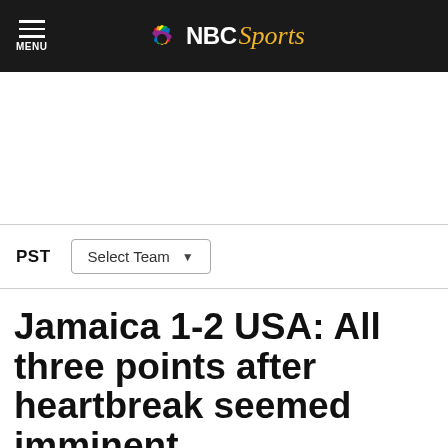NBC Sports
PST   Select Team
Jamaica 1-2 USA: All three points after heartbreak seemed imminent
By fulhamsfinest   Jun 7, 2013, 11:36 PM EDT